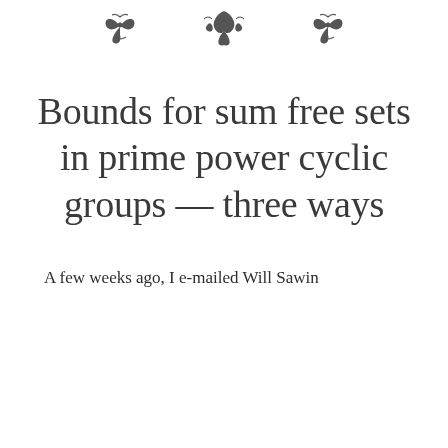[Figure (illustration): Three decorative ornamental flourishes arranged horizontally at the top of the page]
Bounds for sum free sets in prime power cyclic groups — three ways
A few weeks ago, I e-mailed Will Sawin